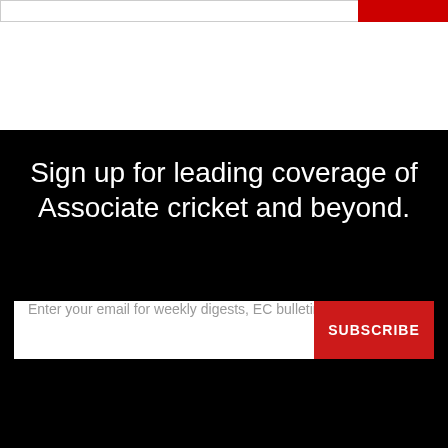[Figure (screenshot): Top navigation bar partial with white input field and red button on white background]
Sign up for leading coverage of Associate cricket and beyond.
Enter your email for weekly digests, EC bulletins + mo
SUBSCRIBE